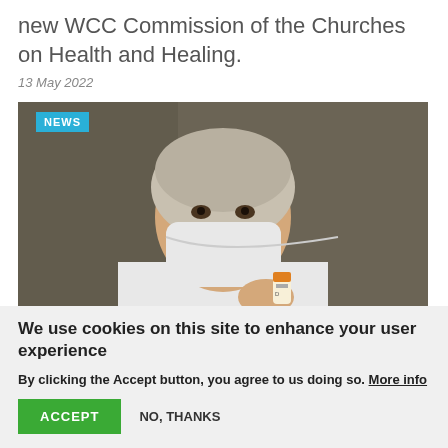new WCC Commission of the Churches on Health and Healing.
13 May 2022
[Figure (photo): A healthcare worker wearing a white coat, hair net, and face mask, holding a small medicine vial. A blue 'NEWS' badge is overlaid in the top-left corner of the image.]
We use cookies on this site to enhance your user experience
By clicking the Accept button, you agree to us doing so. More info
ACCEPT
NO, THANKS